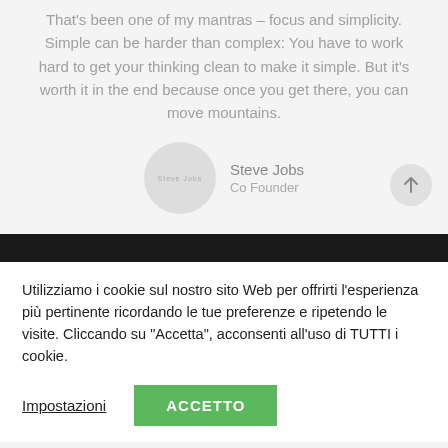That's been one of my mantras – focus and simplicity. Simple can be harder than complex: You have to work hard to get your thinking clean to make it simple. But it's worth it in the end because once you get there, you can move mountains.
[Figure (illustration): Circular avatar placeholder with decorative text reading 'Steve Jobs' attribution row. Author name: Steve Jobs, role: Co Founder.]
[Figure (other): Scroll-to-top button arrow icon in a light grey circle, positioned bottom-right of the testimonial section.]
Utilizziamo i cookie sul nostro sito Web per offrirti l'esperienza più pertinente ricordando le tue preferenze e ripetendo le visite. Cliccando su "Accetta", acconsenti all'uso di TUTTI i cookie.
Impostazioni
ACCETTO